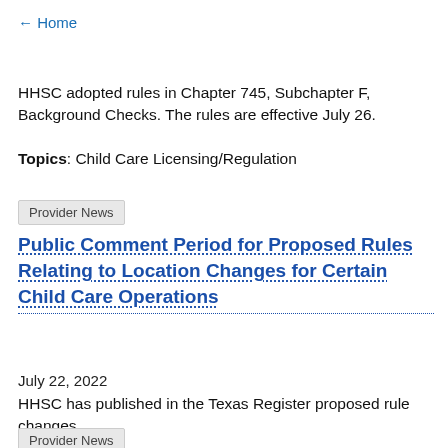← Home
HHSC adopted rules in Chapter 745, Subchapter F, Background Checks. The rules are effective July 26.
Topics: Child Care Licensing/Regulation
Provider News
Public Comment Period for Proposed Rules Relating to Location Changes for Certain Child Care Operations
July 22, 2022
HHSC has published in the Texas Register proposed rule changes.
Provider News